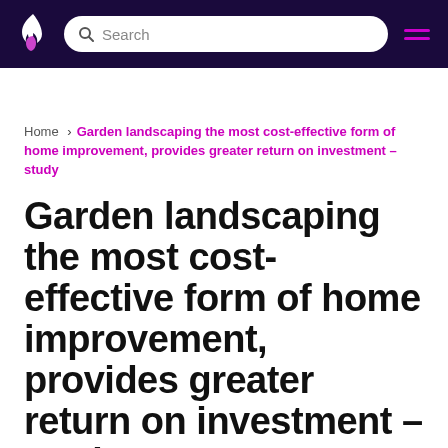Search [navigation bar with logo and hamburger menu]
Home › Garden landscaping the most cost-effective form of home improvement, provides greater return on investment – study
Garden landscaping the most cost-effective form of home improvement, provides greater return on investment – study
Press Release: February 21, 2022